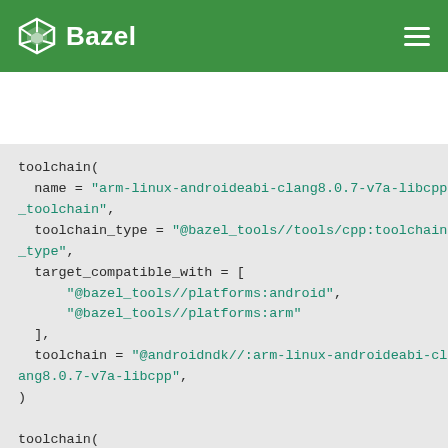Bazel
toolchain(
  name = "arm-linux-androideabi-clang8.0.7-v7a-libcpp_toolchain",
  toolchain_type = "@bazel_tools//tools/cpp:toolchain_type",
  target_compatible_with = [
      "@bazel_tools//platforms:android",
      "@bazel_tools//platforms:arm"
  ],
  toolchain = "@androidndk//:arm-linux-androideabi-clang8.0.7-v7a-libcpp",
)

toolchain(
  name = "aarch64-linux-android-clang8.0.7-libcpp_toolchain",
  toolchain_type = "@bazel_tools//tools/cpp:toolchain_type",
  target_compatible_with = [
      "@bazel_tools//platforms:android",